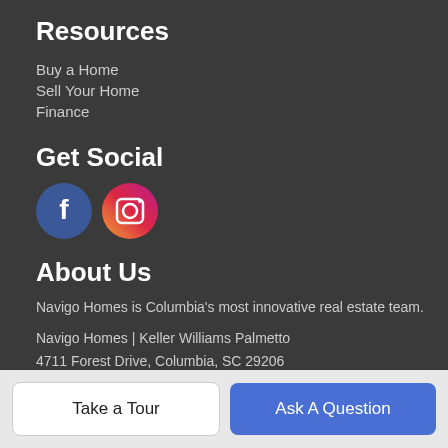Resources
Buy a Home
Sell Your Home
Finance
Get Social
[Figure (illustration): Facebook and Instagram social media icon buttons — Facebook is a blue circle with white 'f', Instagram is a magenta circle with white camera icon]
About Us
Navigo Homes is Columbia's most innovative real estate team.
Navigo Homes | Keller Williams Palmetto
4711 Forest Drive, Columbia, SC 29206
phone number (partially visible)
Take a Tour
Ask A Question